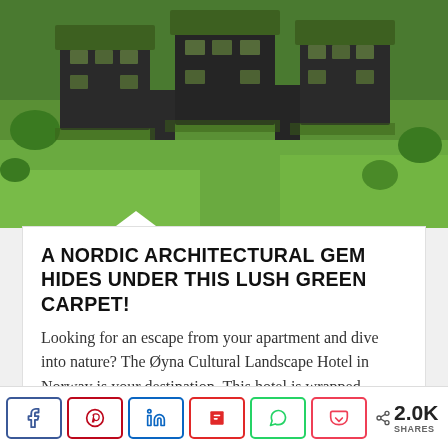[Figure (photo): Aerial view of Nordic-style cabins with green grass roofs surrounded by lush green landscape in Norway]
A NORDIC ARCHITECTURAL GEM HIDES UNDER THIS LUSH GREEN CARPET!
Looking for an escape from your apartment and dive into nature? The Øyna Cultural Landscape Hotel in Norway is your destination. This hotel is wrapped...
[Figure (other): Blue advertisement block]